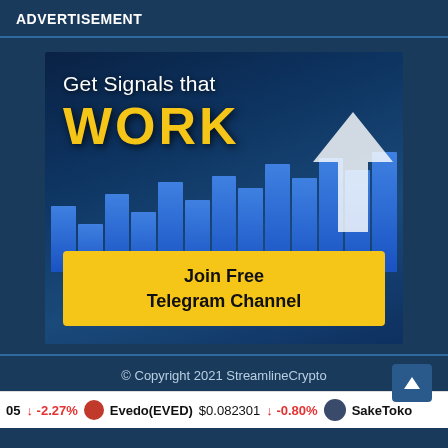ADVERTISEMENT
[Figure (infographic): Advertisement banner showing a bar chart with an upward arrow, text 'Get Signals that WORK' and a yellow CTA button 'Join Free Telegram Channel']
© Copyright 2021 StreamlineCrypto
05  ↓ -2.27%   Evedo(EVED)  $0.082301  ↓ -0.80%   SakeToke